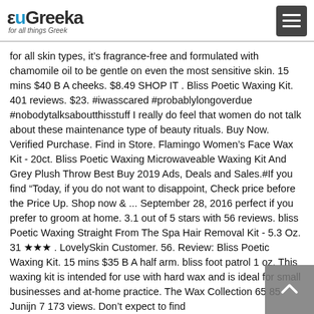euGreeka for all things Greek
for all skin types, it’s fragrance-free and formulated with chamomile oil to be gentle on even the most sensitive skin. 15 mins $40 B A cheeks. $8.49 SHOP IT . Bliss Poetic Waxing Kit. 401 reviews. $23. #iwasscared #probablylongoverdue #nobodytalksaboutthisstuff I really do feel that women do not talk about these maintenance type of beauty rituals. Buy Now. Verified Purchase. Find in Store. Flamingo Women’s Face Wax Kit - 20ct. Bliss Poetic Waxing Microwaveable Waxing Kit And Grey Plush Throw Best Buy 2019 Ads, Deals and Sales.#If you find “Today, if you do not want to disappoint, Check price before the Price Up. Shop now & ... September 28, 2016 perfect if you prefer to groom at home. 3.1 out of 5 stars with 56 reviews. bliss Poetic Waxing Straight From The Spa Hair Removal Kit - 5.3 Oz. 31 ★★★ . LovelySkin Customer. 56. Review: Bliss Poetic Waxing Kit. 15 mins $35 B A half arm. bliss foot patrol 1 oz. This waxing kit is intended for use with hard wax and is ideal for small businesses and at-home practice. The Wax Collection 65 85 Junijn 7 173 views. Don’t expect to find